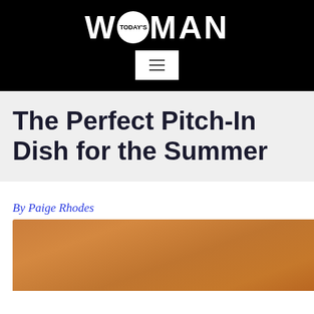TODAY'S WOMAN
The Perfect Pitch-In Dish for the Summer
By Paige Rhodes
[Figure (photo): Close-up photo of a food dish, warm brown/orange tones, partially visible at bottom of page]